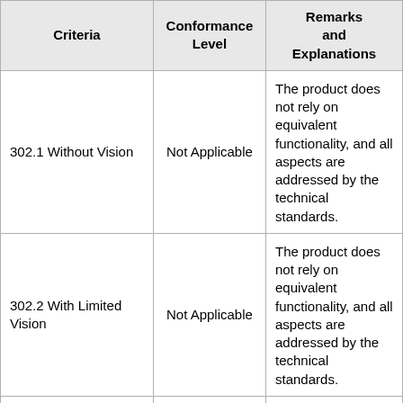| Criteria | Conformance Level | Remarks and Explanations |
| --- | --- | --- |
| 302.1 Without Vision | Not Applicable | The product does not rely on equivalent functionality, and all aspects are addressed by the technical standards. |
| 302.2 With Limited Vision | Not Applicable | The product does not rely on equivalent functionality, and all aspects are addressed by the technical standards. |
| 302.3 Without ... | Not Applicable | The product does not rely on equivalent functionality, |